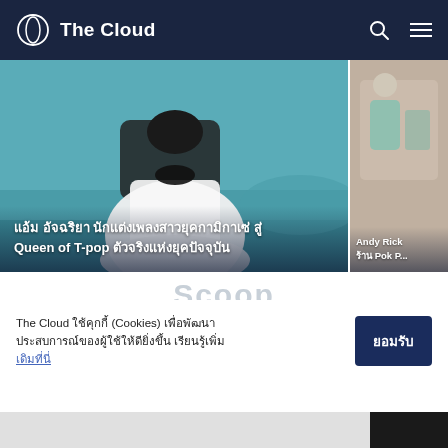The Cloud
[Figure (photo): Hero image left: woman in white dress sitting on teal sofa with black bow detail, with Thai text overlay for article about Am Atchariwa]
แอ้ม อัจฉริยา นักแต่งเพลงสาวยุคกามิกาเซ่ สู่ Queen of T-pop ตัวจริงแห่งยุคปัจจุบัน
[Figure (photo): Hero image right (partially visible): Andy Rick article with shop Pok P... text]
Andy Rick ร้าน Pok P...
Scoop
ความเคลื่อนไหวสร้างสรรค์และรูปแบบดาจการที่เราอยากให้คุณรู้
The Cloud ใช้คุกกี้ (Cookies) เพื่อพัฒนาประสบการณ์ของผู้ใช้ให้ดียิ่งขึ้น เรียนรู้เพิ่มเดิมที่นี่